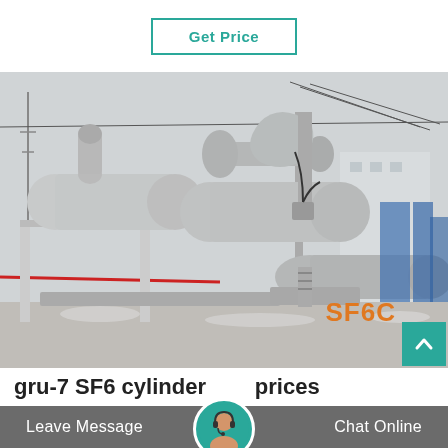Get Price
[Figure (photo): Industrial SF6 gas insulated switchgear / circuit breaker equipment installed outdoors at an electrical substation. Large grey cylindrical metal pipe assemblies and tanks with wiring visible, overhead power lines in background. Orange SF6C watermark text visible in lower right of image.]
gru-7 SF6 cylinder  prices
Leave Message
Chat Online